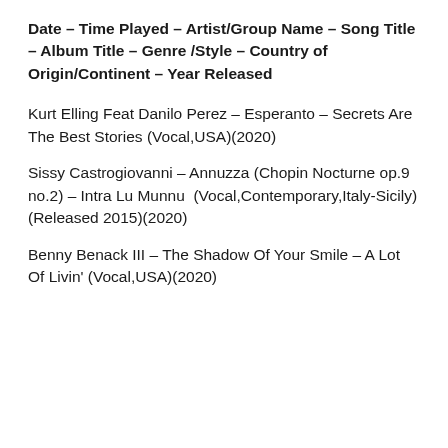Date – Time Played – Artist/Group Name – Song Title – Album Title – Genre /Style – Country of Origin/Continent – Year Released
Kurt Elling Feat Danilo Perez – Esperanto – Secrets Are The Best Stories (Vocal,USA)(2020)
Sissy Castrogiovanni – Annuzza (Chopin Nocturne op.9 no.2) – Intra Lu Munnu  (Vocal,Contemporary,Italy-Sicily)(Released 2015)(2020)
Benny Benack III – The Shadow Of Your Smile – A Lot Of Livin' (Vocal,USA)(2020)